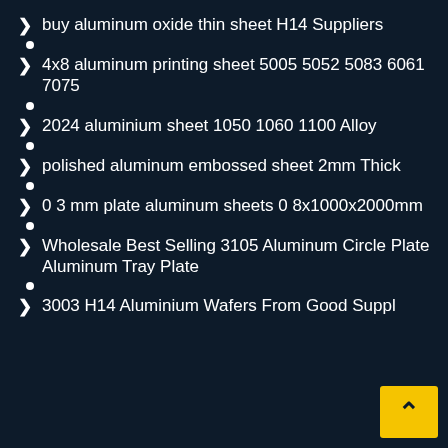buy aluminum oxide thin sheet H14 Suppliers
4x8 aluminum printing sheet 5005 5052 5083 6061 7075
2024 aluminium sheet 1050 1060 1100 Alloy
polished aluminum embossed sheet 2mm Thick
0 3 mm plate aluminum sheets 0 8x1000x2000mm
Wholesale Best Selling 3105 Aluminum Circle Plate Aluminum Tray Plate
3003 H14 Aluminium Wafers From Good Suppl